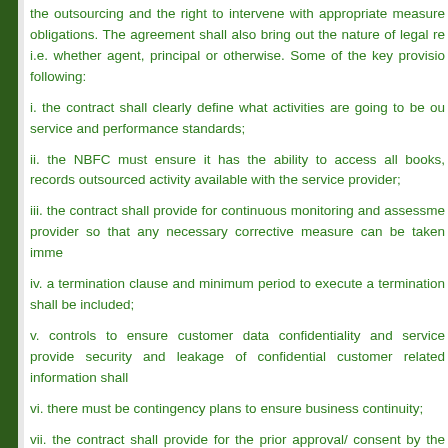the outsourcing and the right to intervene with appropriate measures to meet its obligations. The agreement shall also bring out the nature of legal relationship, i.e. whether agent, principal or otherwise. Some of the key provisions are the following:
i. the contract shall clearly define what activities are going to be outsourced, service and performance standards;
ii. the NBFC must ensure it has the ability to access all books, records, etc. of the outsourced activity available with the service provider;
iii. the contract shall provide for continuous monitoring and assessment of the service provider so that any necessary corrective measure can be taken immediately;
iv. a termination clause and minimum period to execute a termination of contract shall be included;
v. controls to ensure customer data confidentiality and service provider's information security and leakage of confidential customer related information shall be included;
vi. there must be contingency plans to ensure business continuity;
vii. the contract shall provide for the prior approval/ consent by the NBFC for sub-contracting by the service provider for all or part of an outsourced activity;
viii. it shall provide the NBFC with the right to conduct audits on the